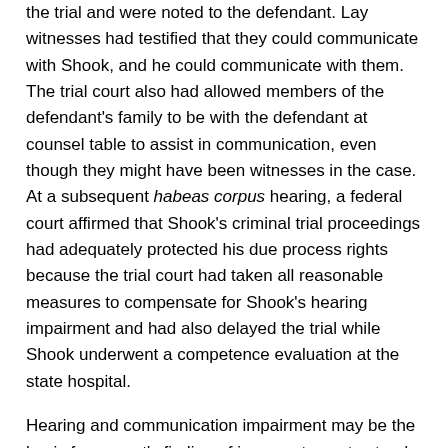the trial and were noted to the defendant. Lay witnesses had testified that they could communicate with Shook, and he could communicate with them. The trial court also had allowed members of the defendant's family to be with the defendant at counsel table to assist in communication, even though they might have been witnesses in the case. At a subsequent habeas corpus hearing, a federal court affirmed that Shook's criminal trial proceedings had adequately protected his due process rights because the trial court had taken all reasonable measures to compensate for Shook's hearing impairment and had also delayed the trial while Shook underwent a competence evaluation at the state hospital.
Hearing and communication impairment may be the basis for a court's finding of incompetence to stand trial, even when no evidence is presented concerning the defendant's mental disorder. For example, State v. Burnett, 2005 Ohio 49 (Ohio Ct. App. 2005),65 affirmed the trial court's finding that a "deaf mute" defendant was incompetent to stand trial. The defendant's concrete thinking and